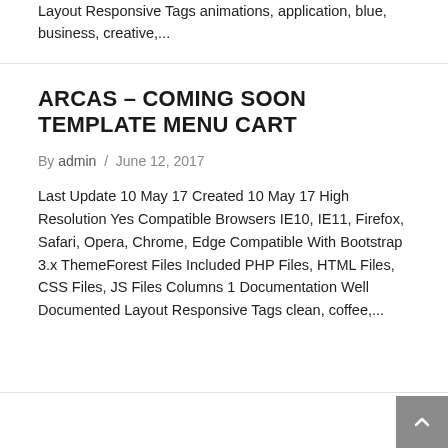Layout Responsive Tags animations, application, blue, business, creative,...
ARCAS – COMING SOON TEMPLATE MENU CART
By admin / June 12, 2017
Last Update 10 May 17 Created 10 May 17 High Resolution Yes Compatible Browsers IE10, IE11, Firefox, Safari, Opera, Chrome, Edge Compatible With Bootstrap 3.x ThemeForest Files Included PHP Files, HTML Files, CSS Files, JS Files Columns 1 Documentation Well Documented Layout Responsive Tags clean, coffee,...